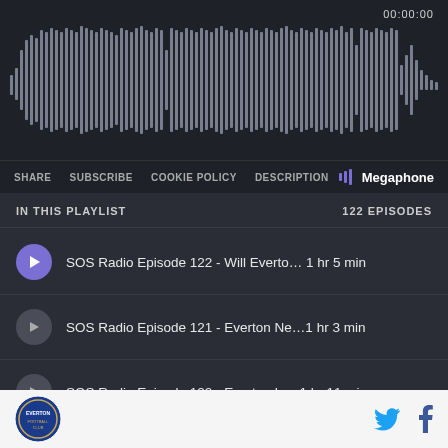[Figure (screenshot): Audio waveform visualization in dark background with timestamp 00:00:00 showing dense vertical bars representing audio amplitude]
00:00:00
SHARE  SUBSCRIBE  COOKIE POLICY  DESCRIPTION  Megaphone
IN THIS PLAYLIST  122 EPISODES
SOS Radio Episode 122 - Will Everto... 1 hr 5 min
SOS Radio Episode 121 - Everton Ne... 1 hr 3 min
SOS Radio Episode 120 - Everton In... 1 hr 11 min
SOS Radio Episode 119 - Everton: ... 1 hr 19 min
SOS Radio Episode 118 - Everton: From... 56 min
[Figure (logo): Everton club circular logo with blue and white design]
[Figure (logo): Twitter bird icon in blue and Facebook f icon in dark blue]